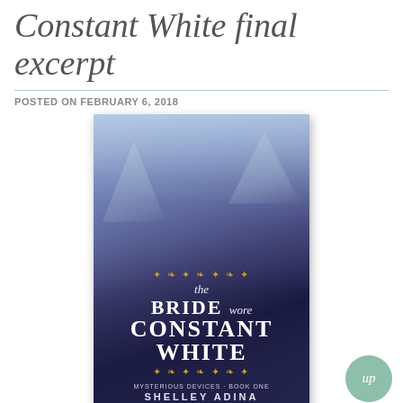Constant White final excerpt
POSTED ON FEBRUARY 6, 2018
[Figure (photo): Book cover of 'The Bride Wore Constant White' by Shelley Adina, Mysterious Devices Book One. Shows a woman in a dark dress against a mountain/forest backdrop with cloud mist and ornate gold decorations.]
Copyright 2018 by Shelley Adi...